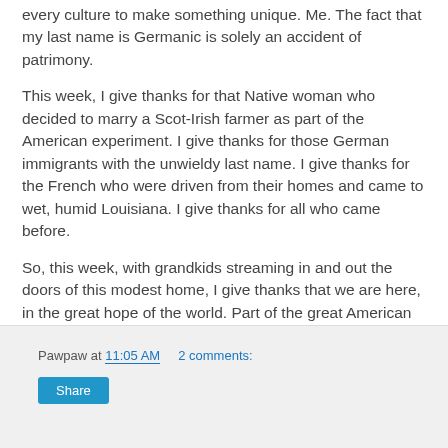every culture to make something unique. Me. The fact that my last name is Germanic is solely an accident of patrimony.
This week, I give thanks for that Native woman who decided to marry a Scot-Irish farmer as part of the American experiment. I give thanks for those German immigrants with the unwieldy last name. I give thanks for the French who were driven from their homes and came to wet, humid Louisiana. I give thanks for all who came before.
So, this week, with grandkids streaming in and out the doors of this modest home, I give thanks that we are here, in the great hope of the world. Part of the great American experiment, part of the greatest democracy this world has ever known. I give thanks that we are sheltered, and fed, and loved, and that my grandchildren have an even chance of being better than I am.
Pawpaw at 11:05 AM   2 comments:   Share